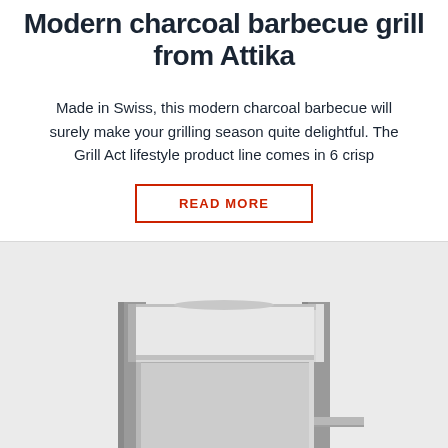Modern charcoal barbecue grill from Attika
Made in Swiss, this modern charcoal barbecue will surely make your grilling season quite delightful. The Grill Act lifestyle product line comes in 6 crisp
READ MORE
[Figure (photo): Modern square charcoal barbecue grill from Attika, metallic silver/grey finish, front-facing view showing the closed lid on top, main body, and open storage area at the bottom. Clean modernist design.]